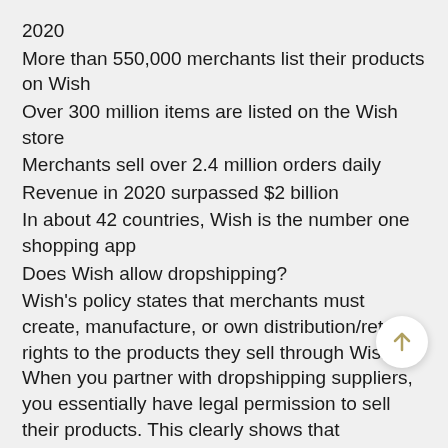2020
More than 550,000 merchants list their products on Wish
Over 300 million items are listed on the Wish store
Merchants sell over 2.4 million orders daily
Revenue in 2020 surpassed $2 billion
In about 42 countries, Wish is the number one shopping app
Does Wish allow dropshipping?
Wish's policy states that merchants must create, manufacture, or own distribution/retail rights to the products they sell through Wish. When you partner with dropshipping suppliers, you essentially have legal permission to sell their products. This clearly shows that dropshipping is allowed on Wish.
What's more, a simple scan of Wish's merchant page shows the platform lists a number of third-party party dropshipping apps (like Avasam